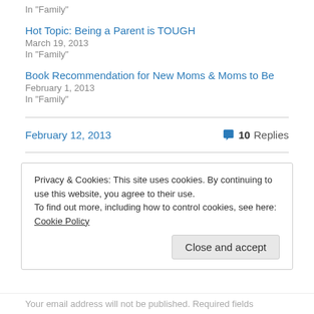In "Family"
Hot Topic: Being a Parent is TOUGH
March 19, 2013
In "Family"
Book Recommendation for New Moms & Moms to Be
February 1, 2013
In "Family"
February 12, 2013
10 Replies
Privacy & Cookies: This site uses cookies. By continuing to use this website, you agree to their use.
To find out more, including how to control cookies, see here: Cookie Policy
Close and accept
Your email address will not be published. Required fields